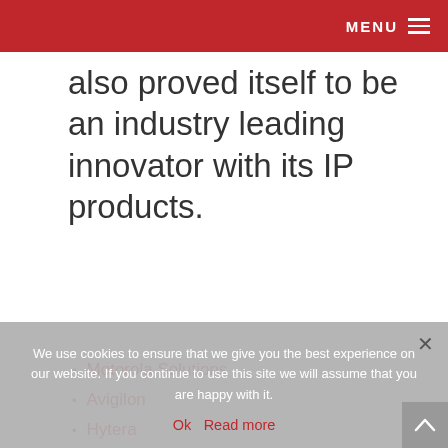MENU
also proved itself to be an industry leading innovator with its IP products.
Motorola Solutions
Avigilon
Hytera
Sepura
Tait Communications
Icom
We use cookies to ensure that we give you the best experience on our website. If you continue to use this site we will assume that you are happy with it.
Ok  Read more